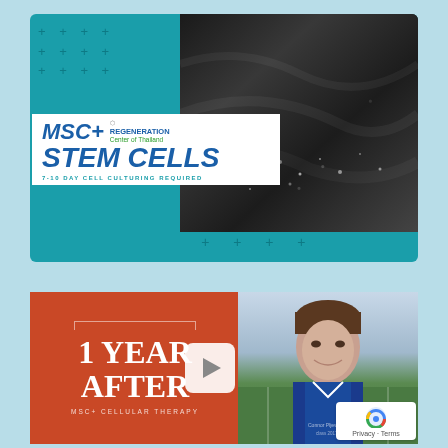[Figure (screenshot): MSC+ Stem Cells promotional video thumbnail with teal background, plus-sign decorations, black and white photo of cells, and play button. Shows MSC+ Regeneration Center of Thailand logo, STEM CELLS heading, and '7-10 DAY CELL CULTURING REQUIRED' text.]
[Figure (screenshot): Video card with orange panel reading '1 YEAR AFTER' and 'MSC+ CELLULAR THERAPY', a play button, and a photo of a young man in a blue jacket on a sports field. Privacy/Terms badge with reCAPTCHA icon visible in bottom right.]